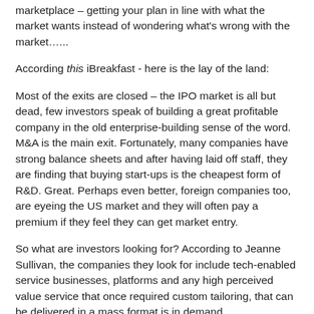marketplace – getting your plan in line with what the market wants instead of wondering what's wrong with the market…...
According this iBreakfast - here is the lay of the land:
Most of the exits are closed – the IPO market is all but dead, few investors speak of building a great profitable company in the old enterprise-building sense of the word. M&A is the main exit. Fortunately, many companies have strong balance sheets and after having laid off staff, they are finding that buying start-ups is the cheapest form of R&D. Great. Perhaps even better, foreign companies too, are eyeing the US market and they will often pay a premium if they feel they can get market entry.
So what are investors looking for? According to Jeanne Sullivan, the companies they look for include tech-enabled service businesses, platforms and any high perceived value service that once required custom tailoring, that can be delivered in a mass format is in demand.
Charlie Federman of ComVentures, noted that…